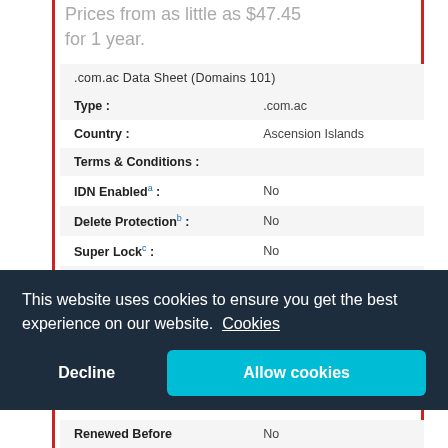Prices from as little as $47.45 for 1 year.
| .com.ac Data Sheet (Domains 101) |
| --- |
| Type : | .com.ac |
| Country : | Ascension Islands |
| Terms & Conditions : |  |
| IDN Enabled a : | No |
| Delete Protection b : | No |
| Super Lock c : | No |
| Domain Recovery d : | No |
| Minimum Renew : | 1 year(s) |
| Maximum Renew : | 1 year(s) |
| Default Registration Period : | 1 year(s) |
| Renewed Before | No |
This website uses cookies to ensure you get the best experience on our website. Cookies
Decline
Allow cookies